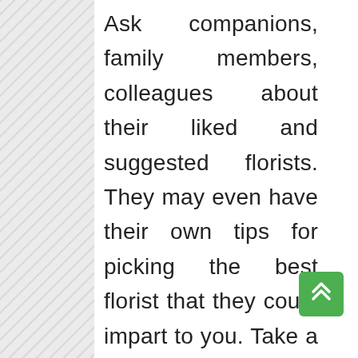Ask companions, family members, colleagues about their liked and suggested florists. They may even have their own tips for picking the best florist that they could impart to you. Take a gander at their collections for photographs of blossom game plans done by their supported florists. Get their criticisms then, at that point, Gauge the negative and positive when settling on your ultimate conclusion. To get started, at to consider